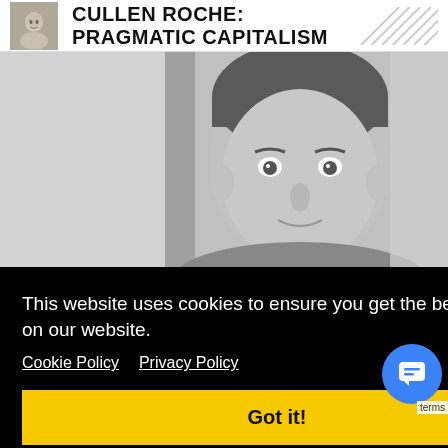CULLEN ROCHE: PRAGMATIC CAPITALISM
[Figure (photo): Black and white portrait photo of a young man, close-up of face and upper body, against a blurred background]
This website uses cookies to ensure you get the best experience on our website.
Cookie Policy  Privacy Policy
Got it!
New 2 Minute M...